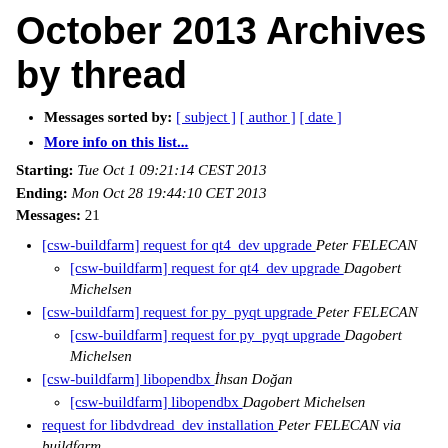October 2013 Archives by thread
Messages sorted by: [ subject ] [ author ] [ date ]
More info on this list...
Starting: Tue Oct 1 09:21:14 CEST 2013
Ending: Mon Oct 28 19:44:10 CET 2013
Messages: 21
[csw-buildfarm] request for qt4_dev upgrade  Peter FELECAN
[csw-buildfarm] request for qt4_dev upgrade  Dagobert Michelsen
[csw-buildfarm] request for py_pyqt upgrade  Peter FELECAN
[csw-buildfarm] request for py_pyqt upgrade  Dagobert Michelsen
[csw-buildfarm] libopendbx  İhsan Doğan
[csw-buildfarm] libopendbx  Dagobert Michelsen
request for libdvdread_dev installation  Peter FELECAN via buildfarm
request for libdvdread_dev installation  Dagobert